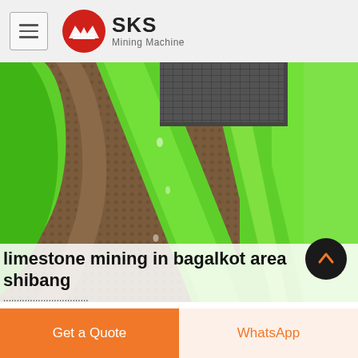[Figure (logo): SKS Mining Machine logo with red circular icon and text]
[Figure (photo): Close-up photo of green industrial mining/screening machine components with textured mesh conveyor belt]
limestone mining in bagalkot area shibang
...
Get a Quote
WhatsApp